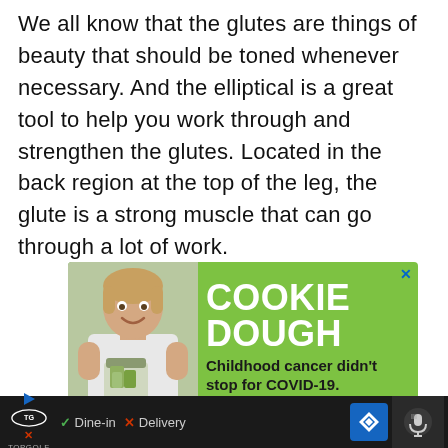We all know that the glutes are things of beauty that should be toned whenever necessary. And the elliptical is a great tool to help you work through and strengthen the glutes. Located in the back region at the top of the leg, the glute is a strong muscle that can go through a lot of work.
[Figure (screenshot): Green advertisement banner featuring a smiling girl holding a jar of money on the left, with white bold text 'COOKIE DOUGH' and dark text 'Childhood cancer didn't stop for COVID-19.' on a green background. A blue close button (X) appears in the top right corner.]
[Figure (screenshot): Black browser toolbar at the bottom showing TopGolf logo with play and close buttons, a checkmark next to 'Dine-in', an X next to 'Delivery', a blue diamond navigation icon, and a microphone/speech button on the far right.]